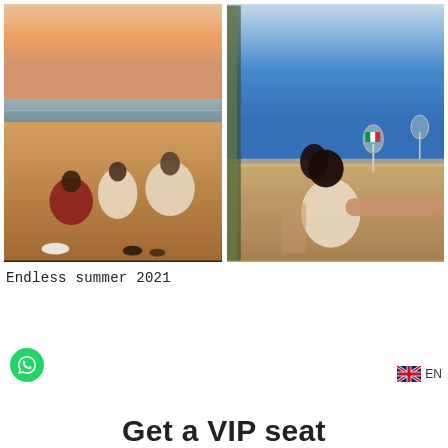[Figure (photo): Two side-by-side photos: left photo shows a group of young people sitting on a beach at sunset with warm orange sky and sand; right photo shows a woman relaxing in a wicker chair on a terrace overlooking the blue sea, with a wine glass visible.]
Endless summer 2021
[Figure (other): Green circular WhatsApp button icon in bottom left]
EN
Get a VIP seat